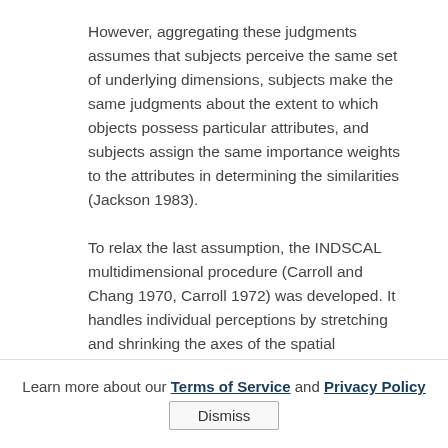However, aggregating these judgments assumes that subjects perceive the same set of underlying dimensions, subjects make the same judgments about the extent to which objects possess particular attributes, and subjects assign the same importance weights to the attributes in determining the similarities (Jackson 1983). To relax the last assumption, the INDSCAL multidimensional procedure (Carroll and Chang 1970, Carroll 1972) was developed. It handles individual perceptions by stretching and shrinking the axes of the spatial representation according to the importance of each dimension to the individual. For example, using INDSCAL, Wish (1971) found that subjects have different perceptions about the similarity of various countries. Subjects classified as "hawks" tended to use the
Learn more about our Terms of Service and Privacy Policy  Dismiss